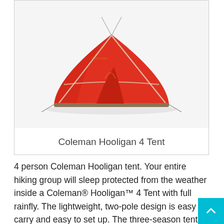[Figure (photo): Red Coleman Hooligan 4 person dome tent with full rainfly, shown against a white background. The tent is red/orange with light-colored poles visible.]
Coleman Hooligan 4 Tent
4 person Coleman Hooligan tent. Your entire hiking group will sleep protected from the weather inside a Coleman® Hooligan™ 4 Tent with full rainfly. The lightweight, two-pole design is easy to carry and easy to set up. The three-season tent is designed for most conditions—mild to harsh—backpackers are sure to encounter. A fully-covered vestibule helps keep the inside of the tent clean by allowing for dry entry and blocking the wind around the door. When the weather is warm, take the rainfly off to enjoy the incredible ventilation from the mesh inner tent. Insta-Clip™ Pole